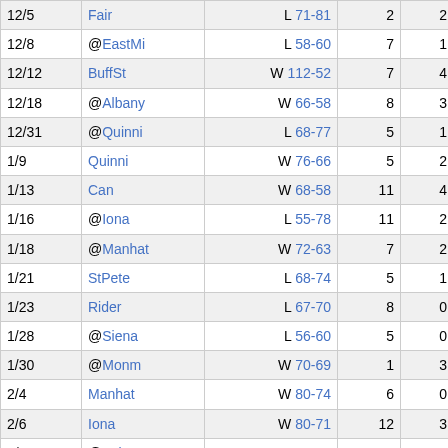| 12/5 | Fair | L 71-81 | 2 | 2 | 14 |
| 12/8 | @EastMi | L 58-60 | 7 | 1 | 8 |
| 12/12 | BuffSt | W 112-52 | 7 | 4 | 7 |
| 12/18 | @Albany | W 66-58 | 8 | 3 | 12 |
| 12/31 | @Quinni | L 68-77 | 5 | 1 | 14 |
| 1/9 | Quinni | W 76-66 | 5 | 2 | 14 |
| 1/13 | Can | W 68-58 | 11 | 4 | 14 |
| 1/16 | @Iona | L 55-78 | 11 | 2 | 9 |
| 1/18 | @Manhat | W 72-63 | 7 | 2 | 13 |
| 1/21 | StPete | L 68-74 | 5 | 1 | 5 |
| 1/23 | Rider | L 67-70 | 8 | 0 | 13 |
| 1/28 | @Siena | L 56-60 | 5 | 0 | 13 |
| 1/30 | @Monm | W 70-69 | 1 | 3 | 0 |
| 2/4 | Manhat | W 80-74 | 6 | 0 | 13 |
| 2/6 | Iona | W 80-71 | 12 | 3 | 6 |
| 2/12 | @Fair | L 53-73 | 6 | 0 | 0 |
| 2/14 | @Marist | L 70-77 | 8 | 3 | 4 |
| 2/19 | @Can | W 65-54 | 4 | 3 | 6 |